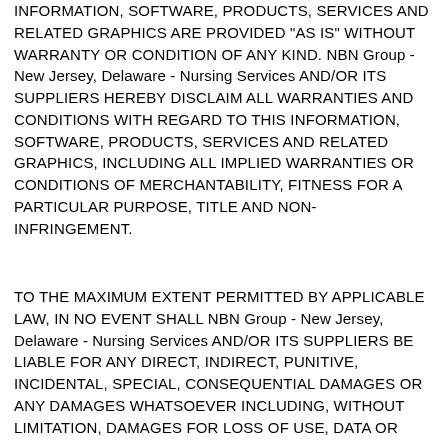INFORMATION, SOFTWARE, PRODUCTS, SERVICES AND RELATED GRAPHICS ARE PROVIDED "AS IS" WITHOUT WARRANTY OR CONDITION OF ANY KIND. NBN Group - New Jersey, Delaware - Nursing Services AND/OR ITS SUPPLIERS HEREBY DISCLAIM ALL WARRANTIES AND CONDITIONS WITH REGARD TO THIS INFORMATION, SOFTWARE, PRODUCTS, SERVICES AND RELATED GRAPHICS, INCLUDING ALL IMPLIED WARRANTIES OR CONDITIONS OF MERCHANTABILITY, FITNESS FOR A PARTICULAR PURPOSE, TITLE AND NON-INFRINGEMENT.
TO THE MAXIMUM EXTENT PERMITTED BY APPLICABLE LAW, IN NO EVENT SHALL NBN Group - New Jersey, Delaware - Nursing Services AND/OR ITS SUPPLIERS BE LIABLE FOR ANY DIRECT, INDIRECT, PUNITIVE, INCIDENTAL, SPECIAL, CONSEQUENTIAL DAMAGES OR ANY DAMAGES WHATSOEVER INCLUDING, WITHOUT LIMITATION, DAMAGES FOR LOSS OF USE, DATA OR